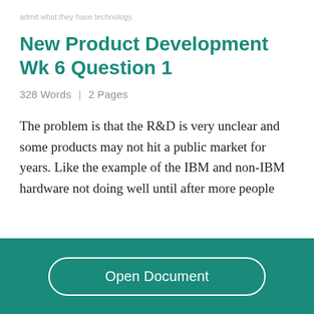admit what they have technology.
New Product Development Wk 6 Question 1
328 Words  | 2 Pages
The problem is that the R&D is very unclear and some products may not hit a public market for years. Like the example of the IBM and non-IBM hardware not doing well until after more people
Open Document